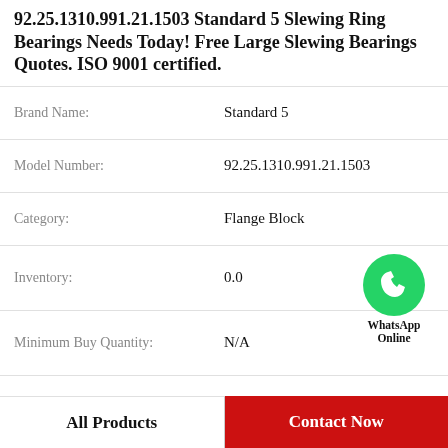92.25.1310.991.21.1503 Standard 5 Slewing Ring Bearings Needs Today! Free Large Slewing Bearings Quotes. ISO 9001 certified.
| Field | Value |
| --- | --- |
| Brand Name: | Standard 5 |
| Model Number: | 92.25.1310.991.21.1503 |
| Category: | Flange Block |
| Inventory: | 0.0 |
| Minimum Buy Quantity: | N/A |
| Weight: | 6.129 |
| Product Group: | M06288 |
| Number of Mounting Holes: | 4 |
[Figure (logo): WhatsApp Online green circle icon with phone handset, label reads WhatsApp Online]
All Products
Contact Now